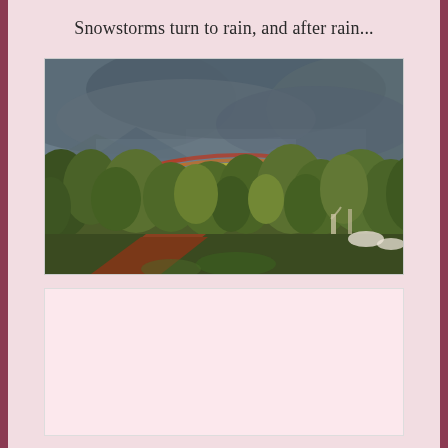Snowstorms turn to rain, and after rain...
[Figure (photo): Outdoor landscape photograph showing a rainbow arching over a tree-covered hillside with a red dirt path in the foreground and dark storm clouds overhead.]
[Figure (photo): Partially visible second photograph at the bottom of the page, content not fully visible.]